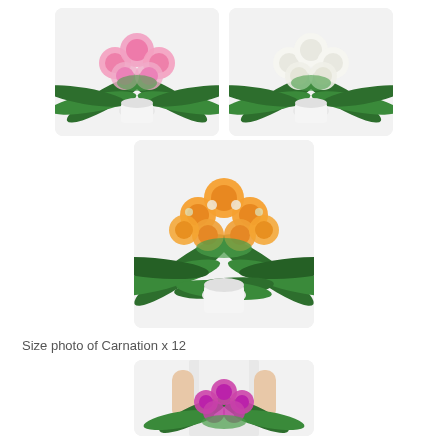[Figure (photo): Pink carnation bouquet in white vase with palm leaves, top-left]
[Figure (photo): White carnation bouquet in white vase with palm leaves, top-right]
[Figure (photo): Orange carnation bouquet in white vase with palm leaves, center]
Size photo of Carnation x 12
[Figure (photo): Woman holding purple carnation bouquet with palm leaves, partially visible, bottom center]